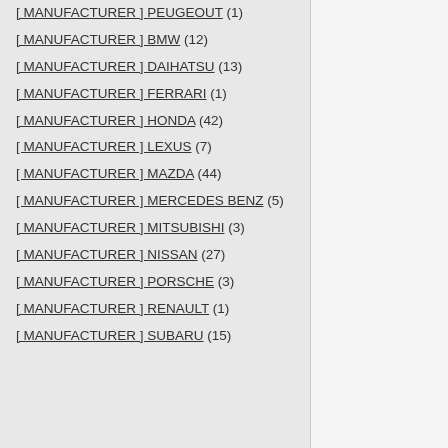[ MANUFACTURER ] PEUGEOUT (1)
[ MANUFACTURER ] BMW (12)
[ MANUFACTURER ] DAIHATSU (13)
[ MANUFACTURER ] FERRARI (1)
[ MANUFACTURER ] HONDA (42)
[ MANUFACTURER ] LEXUS (7)
[ MANUFACTURER ] MAZDA (44)
[ MANUFACTURER ] MERCEDES BENZ (5)
[ MANUFACTURER ] MITSUBISHI (3)
[ MANUFACTURER ] NISSAN (27)
[ MANUFACTURER ] PORSCHE (3)
[ MANUFACTURER ] RENAULT (1)
[ MANUFACTURER ] SUBARU (15)
[Figure (photo): Photo of stacked items, partially visible in bottom-right corner]